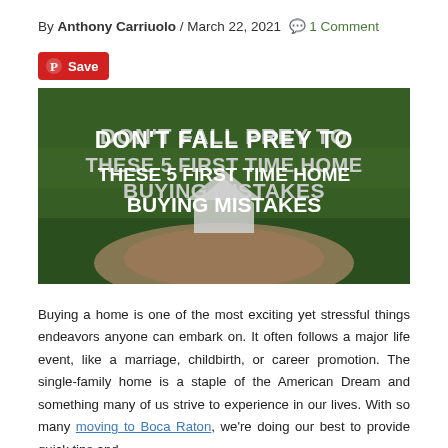By Anthony Carriuolo / March 22, 2021 💬 1 Comment
[Figure (photo): Hands holding a paper house cutout with text overlay: DON'T FALL PREY TO THESE 5 FIRST TIME HOME BUYING MISTAKES, on a green grass background]
Buying a home is one of the most exciting yet stressful things endeavors anyone can embark on. It often follows a major life event, like a marriage, childbirth, or career promotion. The single-family home is a staple of the American Dream and something many of us strive to experience in our lives. With so many moving to Boca Raton, we're doing our best to provide quick tips and